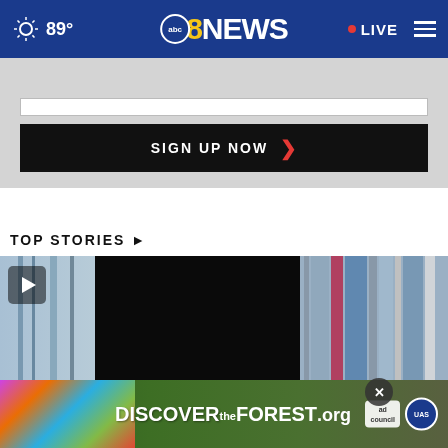89° abc 8NEWS LIVE
SIGN UP NOW
TOP STORIES ▶
[Figure (screenshot): Video thumbnail showing library shelves with books, a play button in the top-left corner, and a close X button]
[Figure (photo): DISCOVERtheFOREST.org advertisement banner with colorful flowers on the left, text in the center, and ad council plus USDA Forest Service logos on the right]